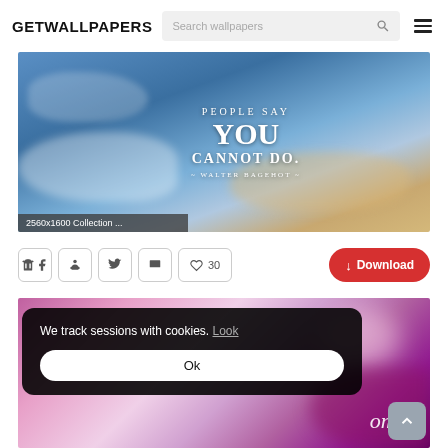GETWALLPAPERS
[Figure (screenshot): Wallpaper image with sky background and motivational quote: PEOPLE SAY YOU CANNOT DO. ~ WALTER BAGEHOT ~, labeled '2560x1600 Collection ...']
[Figure (screenshot): Social share buttons: Facebook, Pinterest, Twitter, Flag icons, heart/like button showing '30', and red Download button]
[Figure (screenshot): Pink/purple blurred gradient wallpaper with text 'ome.' visible, and a cookie consent popup: 'We track sessions with cookies. Look' with Ok button, and scroll-to-top button]